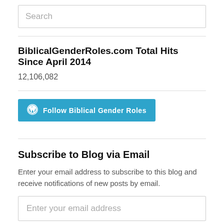Search
BiblicalGenderRoles.com Total Hits Since April 2014
12,106,082
[Figure (other): Follow Biblical Gender Roles button with WordPress logo]
Subscribe to Blog via Email
Enter your email address to subscribe to this blog and receive notifications of new posts by email.
Enter your email address
Subscribe